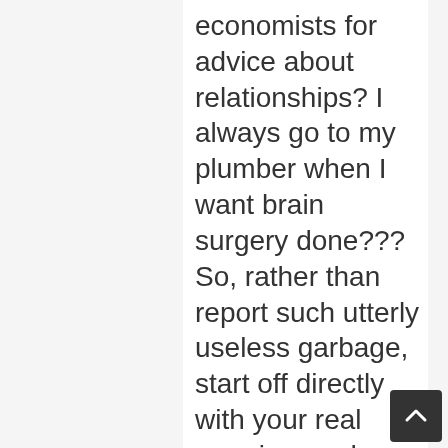economists for advice about relationships? I always go to my plumber when I want brain surgery done??? So, rather than report such utterly useless garbage, start off directly with your real premise, and build from there. If you have true longitudinal research based on following hundreds of couples – not asking them to